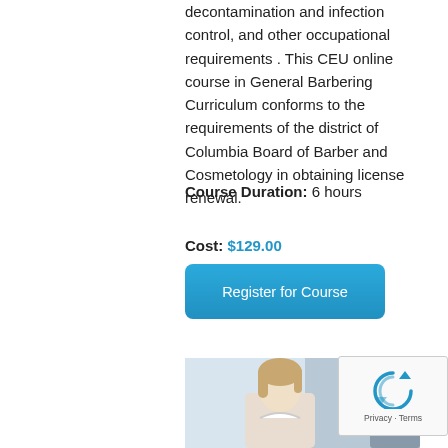decontamination and infection control, and other occupational requirements . This CEU online course in General Barbering Curriculum conforms to the requirements of the district of Columbia Board of Barber and Cosmetology in obtaining license renewal.
Course Duration: 6 hours
Cost: $129.00
[Figure (illustration): Blue rounded rectangle button labeled 'Register for Course']
[Figure (photo): Partial photo of a woman with blonde hair in what appears to be a professional or salon setting]
[Figure (other): reCAPTCHA widget showing recycling arrow icon and 'Privacy - Terms' text]